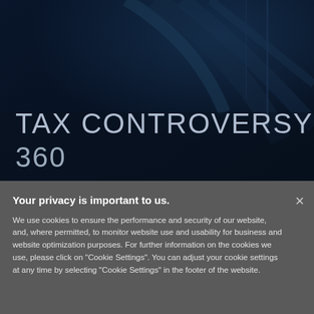[Figure (photo): Dark blue hero background image showing abstract architectural shapes or car interior, with a deep navy blue tone]
TAX CONTROVERSY
360
Your privacy is important to us.
We use cookies to ensure the performance and security of our website, and, where permitted, to monitor website use and usability for business and website optimization purposes. For further information on the cookies we use, please click on "Cookie Settings". You can adjust your cookie settings at any time by selecting "Cookie Settings" in the footer of the website.